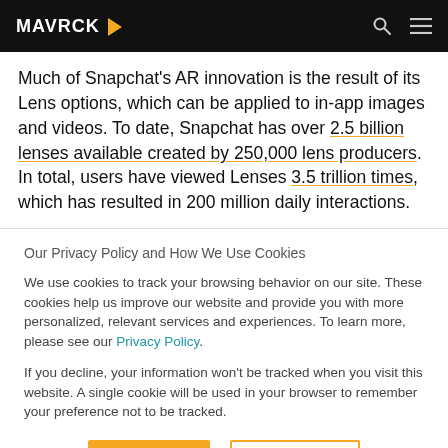MAVRCK
Much of Snapchat's AR innovation is the result of its Lens options, which can be applied to in-app images and videos. To date, Snapchat has over 2.5 billion lenses available created by 250,000 lens producers. In total, users have viewed Lenses 3.5 trillion times, which has resulted in 200 million daily interactions.
Our Privacy Policy and How We Use Cookies
We use cookies to track your browsing behavior on our site. These cookies help us improve our website and provide you with more personalized, relevant services and experiences. To learn more, please see our Privacy Policy.
If you decline, your information won't be tracked when you visit this website. A single cookie will be used in your browser to remember your preference not to be tracked.